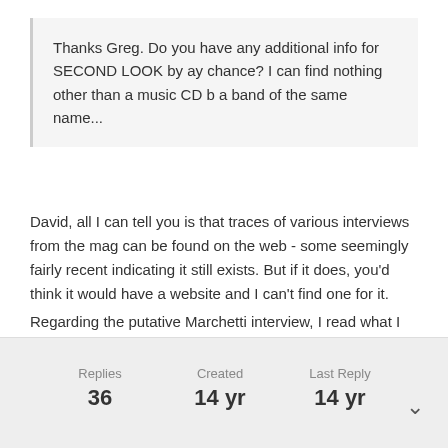Thanks Greg. Do you have any additional info for SECOND LOOK by ay chance? I can find nothing other than a music CD b a band of the same name...
David, all I can tell you is that traces of various interviews from the mag can be found on the web - some seemingly fairly recent indicating it still exists. But if it does, you'd think it would have a website and I can't find one for it.
Regarding the putative Marchetti interview, I read what I thought was a complete version of it some time ago when looking into some of his JFK claims. Just did a quick google without seeing it, but a more thorough check might locate it. I did not doubt its authenticity at the time, but your point is taken about some of the terminology. Still inclined to believe it is authentic though...
Replies 36 Created 14 yr Last Reply 14 yr